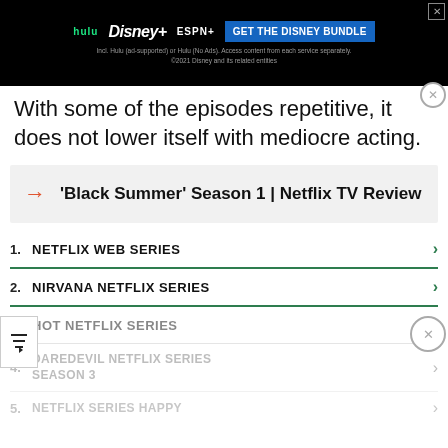[Figure (screenshot): Disney Bundle advertisement banner with Hulu, Disney+, and ESPN+ logos and a 'GET THE DISNEY BUNDLE' CTA button on a black background]
With some of the episodes repetitive, it does not lower itself with mediocre acting.
'Black Summer' Season 1 | Netflix TV Review
1. NETFLIX WEB SERIES
2. NIRVANA NETFLIX SERIES
3. HOT NETFLIX SERIES
4. DAREDEVIL NETFLIX SERIES SEASON 3
5. NETFLIX SERIES HAPPY